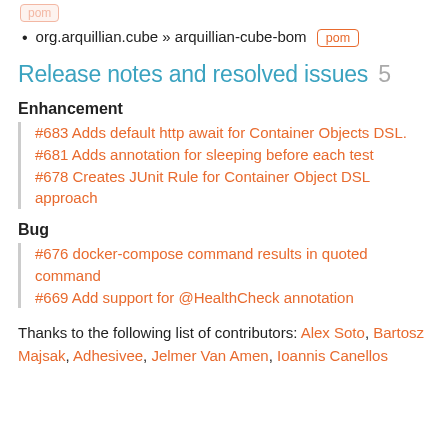org.arquillian.cube » arquillian-cube-bom pom
Release notes and resolved issues 5
Enhancement
#683 Adds default http await for Container Objects DSL.
#681 Adds annotation for sleeping before each test
#678 Creates JUnit Rule for Container Object DSL approach
Bug
#676 docker-compose command results in quoted command
#669 Add support for @HealthCheck annotation
Thanks to the following list of contributors: Alex Soto, Bartosz Majsak, Adhesivee, Jelmer Van Amen, Ioannis Canellos